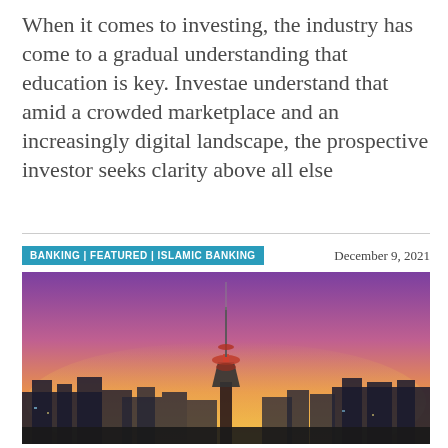When it comes to investing, the industry has come to a gradual understanding that education is key. Investae understand that amid a crowded marketplace and an increasingly digital landscape, the prospective investor seeks clarity above all else
BANKING | FEATURED | ISLAMIC BANKING    December 9, 2021
[Figure (photo): Aerial cityscape at sunset with a prominent communications tower in the center, against a purple-to-orange gradient sky. City skyline with buildings visible along the horizon.]